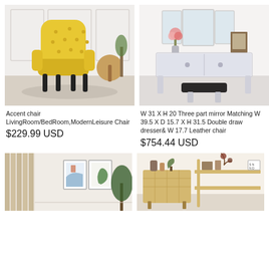[Figure (photo): Yellow tufted accent chair with black legs in a living room setting with a small wooden side table]
Accent chair LivingRoom/BedRoom,ModernLeisure Chair
$229.99 USD
[Figure (photo): White mirrored vanity dressing table set with three-part mirror, double drawers, and black leather stool]
W 31 X H 20 Three part mirror Matching W 39.5 X D 15.7 X H 31.5 Double draw dresser& W 17.7 Leather chair
$754.44 USD
[Figure (photo): Room interior with framed wall art prints and a large plant]
[Figure (photo): Rattan cabinet with decorative vases and shelves]